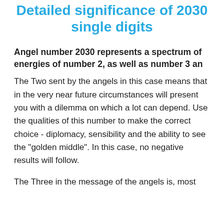Detailed significance of 2030 single digits
Angel number 2030 represents a spectrum of energies of number 2, as well as number 3 an
The Two sent by the angels in this case means that in the very near future circumstances will present you with a dilemma on which a lot can depend. Use the qualities of this number to make the correct choice - diplomacy, sensibility and the ability to see the "golden middle". In this case, no negative results will follow.
The Three in the message of the angels is, most